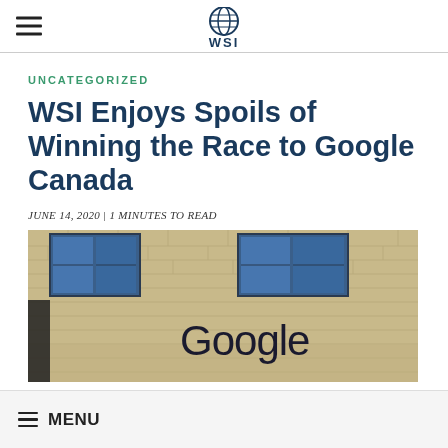WSI
UNCATEGORIZED
WSI Enjoys Spoils of Winning the Race to Google Canada
JUNE 14, 2020 | 1 MINUTES TO READ
[Figure (photo): Exterior of a brick building with windows showing the Google logo signage]
≡ MENU